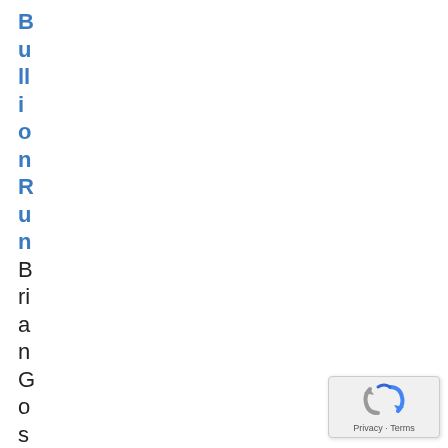BullionRun Brian Gosdene recall s
[Figure (logo): reCAPTCHA badge with spinning arrows icon and Privacy · Terms text]